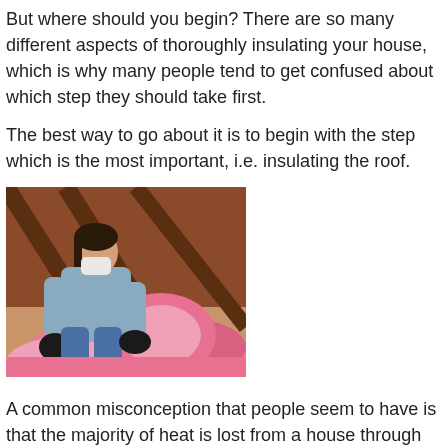But where should you begin? There are so many different aspects of thoroughly insulating your house, which is why many people tend to get confused about which step they should take first.
The best way to go about it is to begin with the step which is the most important, i.e. insulating the roof.
[Figure (photo): A person wearing a dust mask and gloves crouching in an attic, handling pink fiberglass insulation rolls. The attic has wooden beams and pink insulation visible throughout.]
A common misconception that people seem to have is that the majority of heat is lost from a house through the walls. While it is surely true that a considerable amount of heat is lost through the walls, most of the house's heat are, in fact, lost through the roof. The percentage of your home's heat